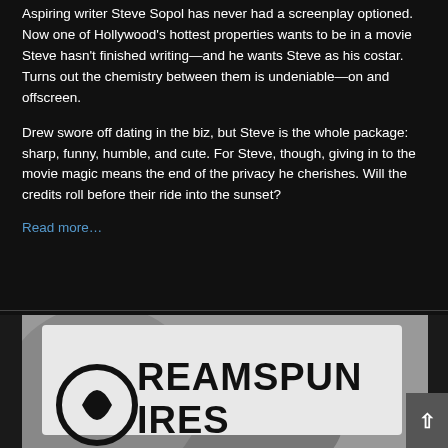Aspiring writer Steve Sopol has never had a screenplay optioned. Now one of Hollywood's hottest properties wants to be in a movie Steve hasn't finished writing—and he wants Steve as his costar. Turns out the chemistry between them is undeniable—on and offscreen.
Drew swore off dating in the biz, but Steve is the whole package: sharp, funny, humble, and cute. For Steve, though, giving in to the movie magic means the end of the privacy he cherishes. Will the credits roll before their ride into the sunset?
Read more…
[Figure (photo): Dreamspun Desires logo on a fabric/shirt in black and white photography, showing partial text REAMSPUN and IRES with a circular swirl logo element]